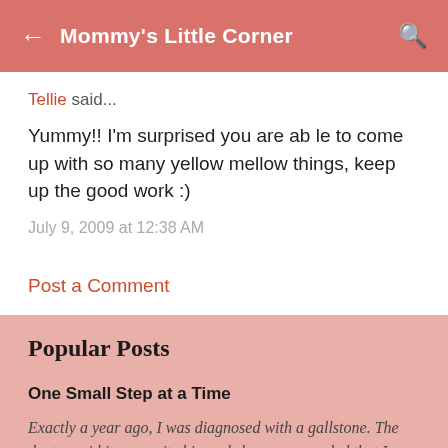Mommy's Little Corner
Tellie said...
Yummy!! I'm surprised you are ab le to come up with so many yellow mellow things, keep up the good work :)
July 9, 2009 at 12:38 AM
Post a Comment
Popular Posts
One Small Step at a Time
Exactly a year ago, I was diagnosed with a gallstone. The doctor said it was quite big and she recommended that I have it